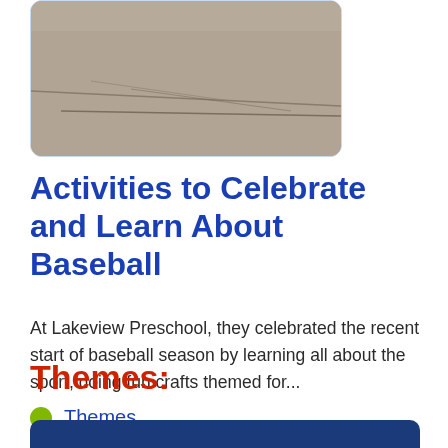[Figure (photo): Top portion of a photo showing what appears to be a dirt or cracked surface, shown inside a rounded card with light blue border]
Activities to Celebrate and Learn About Baseball
At Lakeview Preschool, they celebrated the recent start of baseball season by learning all about the sport, doing fun crafts themed for...
Themes:
Themes